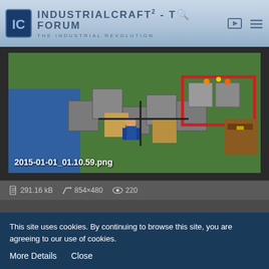IndustrialCraft² - The Forum — The Industrial Revolution
[Figure (screenshot): Minecraft screenshot showing industrial machinery, red blocks, stone structures, and a player character. Filename overlay: 2015-01-01_01.10.59.png]
291.16 kB   854×480   220
blub01
The Dude who doesn't play minecraft but is frequently active on a
This site uses cookies. By continuing to browse this site, you are agreeing to our use of cookies.
More Details   Close